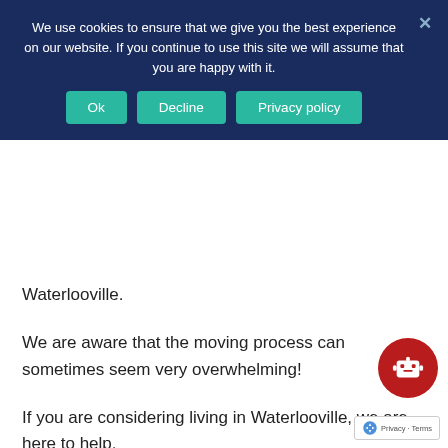We use cookies to ensure that we give you the best experience on our website. If you continue to use this site we will assume that you are happy with it.
Waterlooville.
We are aware that the moving process can sometimes seem very overwhelming!
If you are considering living in Waterlooville, we are here to help.
In this article, we hope to give you a better understanding of what living in Waterloo
Establishing a greater understanding of what you expect when living in Waterlooville is certainly going